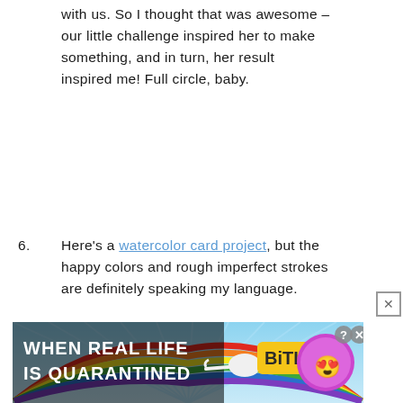with us. So I thought that was awesome – our little challenge inspired her to make something, and in turn, her result inspired me! Full circle, baby.
6. Here's a watercolor card project, but the happy colors and rough imperfect strokes are definitely speaking my language.
[Figure (screenshot): Advertisement banner for BitLife game showing rainbow, cartoon character with star eyes, and text 'WHEN REAL LIFE IS QUARANTINED' with BitLife logo]